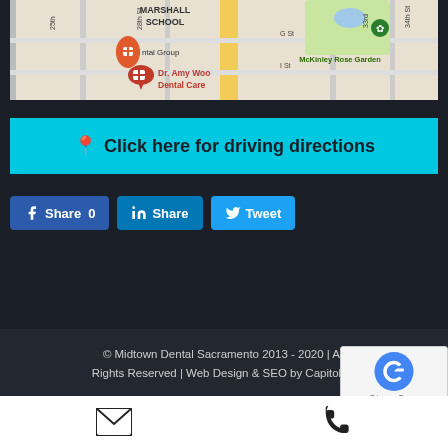[Figure (map): Google Maps screenshot showing area around Dr. Amy Woo Dental Care in Sacramento, with streets including 25th, 28th, 33rd, 34th, G St, I St, Marshall School, McKinley Rose Garden, and map pins for a dental group and Dr. Amy Woo Dental Care]
Click here for driving directions
Share 0
Share
Tweet
© Midtown Dental Sacramento 2013 - 2020 | All Rights Reserved | Web Design & SEO by Capitol Te…